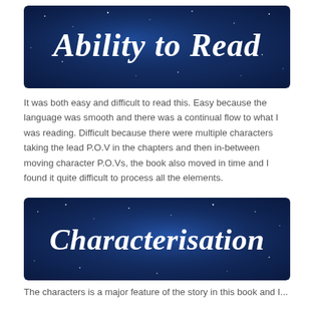[Figure (illustration): Dark blue starry/galaxy background banner with white cursive script text reading 'Ability to Read']
It was both easy and difficult to read this. Easy because the language was smooth and there was a continual flow to what I was reading. Difficult because there were multiple characters taking the lead P.O.V in the chapters and then in-between moving character P.O.Vs, the book also moved in time and I found it quite difficult to process all the elements.
[Figure (illustration): Dark blue starry/galaxy background banner with white cursive script text reading 'Characterisation']
The characters is a major feature of the story in this book and I...